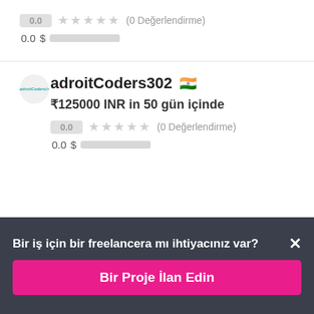0.0 ★★★★★ (0 Değerlendirme)
0.0 $
adroitCoders302 🇮🇳
₹125000 INR in 50 gün içinde
0.0 ★★★★★ (0 Değerlendirme)
0.0 $
Bir iş için bir freelancera mı ihtiyacınız var?
Bir Proje İlan Edin